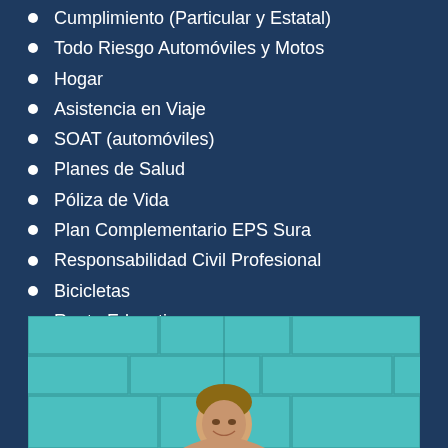Cumplimiento (Particular y Estatal)
Todo Riesgo Automóviles y Motos
Hogar
Asistencia en Viaje
SOAT (automóviles)
Planes de Salud
Póliza de Vida
Plan Complementario EPS Sura
Responsabilidad Civil Profesional
Bicicletas
Renta Educativa
Arrendamiento
Embarcaciones de Recreo
Autos Pesados (individual)
[Figure (photo): Person smiling in front of a teal/turquoise brick wall, visible from shoulders up at bottom of page]